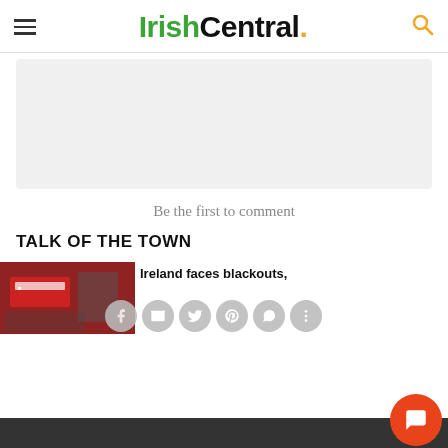IrishCentral.
[Figure (other): Gray advertisement placeholder rectangle]
Be the first to comment
TALK OF THE TOWN
[Figure (photo): Article thumbnail showing a building interior with red signage]
Ireland faces blackouts,
[Figure (other): Social share buttons row: Facebook, Email, Twitter, Pinterest, WhatsApp, More]